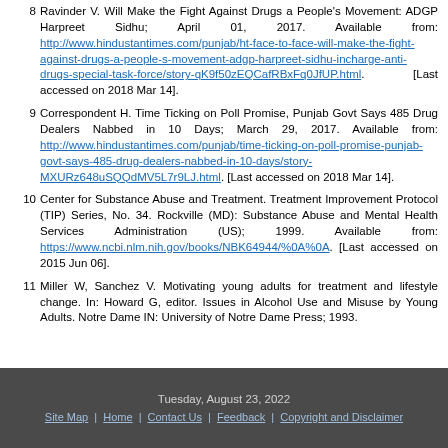8 Ravinder V. Will Make the Fight Against Drugs a People's Movement: ADGP Harpreet Sidhu; April 01, 2017. Available from: http://www.hindustantimes.com/punjab/ht-face-to-face-will-make-the-fight-against-drugs-a-people-s-movement-adgp-harpreet-sidhu-incharge-anti-drugs-special-task-force/story-qK9f50zEQCafRBxFq0JfUP.html. [Last accessed on 2018 Mar 14].
9 Correspondent H. Time Ticking on Poll Promise, Punjab Govt Says 485 Drug Dealers Nabbed in 10 Days; March 29, 2017. Available from: http://www.hindustantimes.com/punjab/time-ticking-on-poll-promise-punjab-govt-says-485-drug-dealers-nabbed-in-10-days/story-MXURz648uSQQdMV5L7r9LJ.html. [Last accessed on 2018 Mar 14].
10 Center for Substance Abuse and Treatment. Treatment Improvement Protocol (TIP) Series, No. 34. Rockville (MD): Substance Abuse and Mental Health Services Administration (US); 1999. Available from: https://www.ncbi.nlm.nih.gov/books/NBK64944/%0A%0A. [Last accessed on 2015 Jun 06].
11 Miller W, Sanchez V. Motivating young adults for treatment and lifestyle change. In: Howard G, editor. Issues in Alcohol Use and Misuse by Young Adults. Notre Dame IN: University of Notre Dame Press; 1993.
Tuesday, August 23, 2022 | Site Map | Home | Contact Us | Feedback | Copyright and Disclaimer